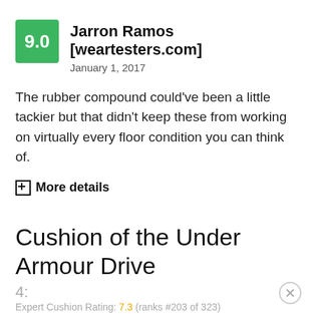9.0 — Jarron Ramos [weartesters.com], January 1, 2017
The rubber compound could've been a little tackier but that didn't keep these from working on virtually every floor condition you can think of.
+ More details
Cushion of the Under Armour Drive
4:
Expert Cushion Rating: 7.3 (ranks #203 of 323)